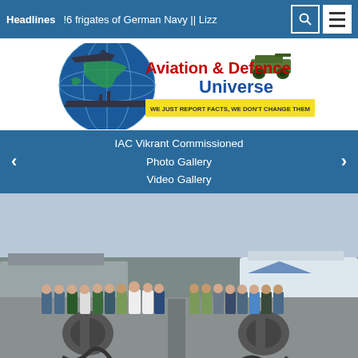Headlines | !6 frigates of German Navy || Lizz
[Figure (logo): Aviation & Defence Universe logo with globe, aircraft, warship, tank and tagline WE JUST REPORT FACTS, WE DON'T CHANGE THEM]
IAC Vikrant Commissioned
Photo Gallery
Video Gallery
[Figure (photo): Military personnel group photo on the deck of a naval vessel, with warship equipment including anchors and chains visible in foreground, large ships in background harbor]